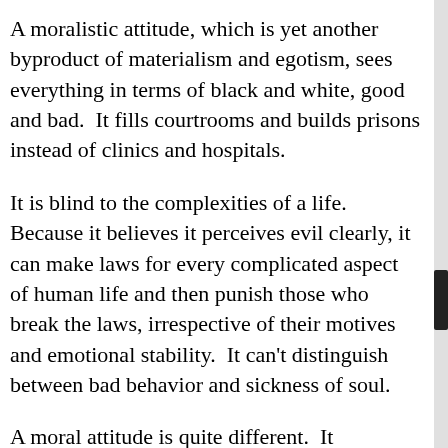A moralistic attitude, which is yet another byproduct of materialism and egotism, sees everything in terms of black and white, good and bad. It fills courtrooms and builds prisons instead of clinics and hospitals.
It is blind to the complexities of a life. Because it believes it perceives evil clearly, it can make laws for every complicated aspect of human life and then punish those who break the laws, irrespective of their motives and emotional stability. It can't distinguish between bad behavior and sickness of soul.
A moral attitude is quite different. It considers the conditions under which people make bad decisions and dally with criminality and resort to violence. It sorts out the context of bad behavior and tries to heal conflicted emotions, twisted histories, and misguided views. Rather than punish individuals, it works toward a healed